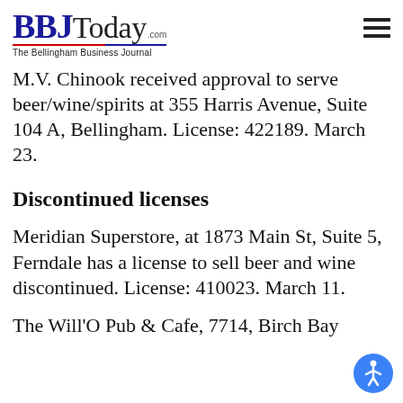BBJToday.com — The Bellingham Business Journal
M.V. Chinook received approval to serve beer/wine/spirits at 355 Harris Avenue, Suite 104 A, Bellingham. License: 422189. March 23.
Discontinued licenses
Meridian Superstore, at 1873 Main St, Suite 5, Ferndale has a license to sell beer and wine discontinued. License: 410023. March 11.
The Will'O Pub & Cafe, 7714, Birch Bay